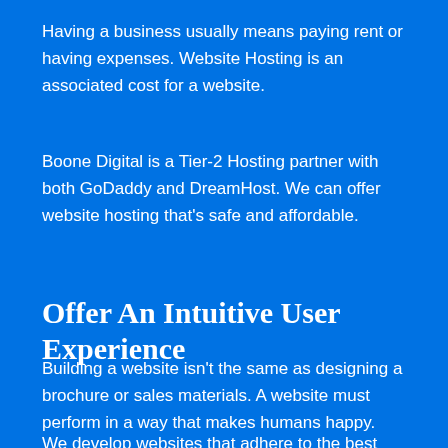Having a business usually means paying rent or having expenses. Website Hosting is an associated cost for a website.
Boone Digital is a Tier-2 Hosting partner with both GoDaddy and DreamHost. We can offer website hosting that's safe and affordable.
Offer An Intuitive User Experience
Building a website isn't the same as designing a brochure or sales materials. A website must perform in a way that makes humans happy.
We develop websites that adhere to the best practices for